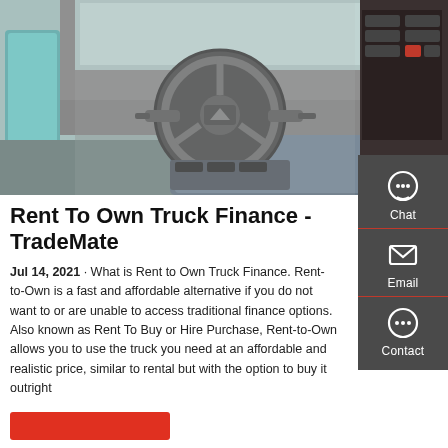[Figure (photo): Interior of a truck cab showing the steering wheel with a triangular logo, dashboard, and center console with controls]
Rent To Own Truck Finance - TradeMate
Jul 14, 2021 · What is Rent to Own Truck Finance. Rent-to-Own is a fast and affordable alternative if you do not want to or are unable to access traditional finance options. Also known as Rent To Buy or Hire Purchase, Rent-to-Own allows you to use the truck you need at an affordable and realistic price, similar to rental but with the option to buy it outright